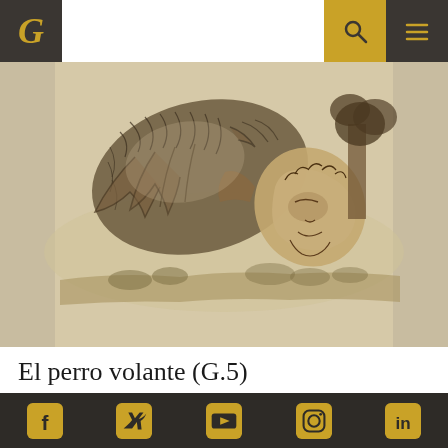G [logo] | [search] [menu]
[Figure (illustration): Pencil sketch drawing of a flying dog (El perro volante) with a human-like face, shown hovering over a landscape. The creature has a furry body and flowing fur, bending downward to look at the ground below. The landscape in the background shows a distant treeline. The drawing is in graphite/pencil on cream paper.]
El perro volante (G.5)
DRAWINGS
NOTEBOOK G, FROM BORDEAUX (DRAWINGS, CA.
Facebook | Twitter | YouTube | Instagram | LinkedIn